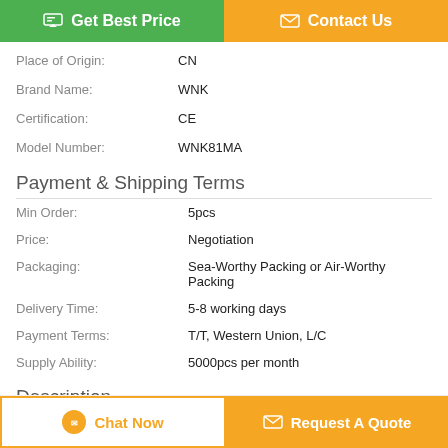Get Best Price
Contact Us
| Place of Origin: | CN |
| Brand Name: | WNK |
| Certification: | CE |
| Model Number: | WNK81MA |
Payment & Shipping Terms
| Min Order: | 5pcs |
| Price: | Negotiation |
| Packaging: | Sea-Worthy Packing or Air-Worthy Packing |
| Delivery Time: | 5-8 working days |
| Payment Terms: | T/T, Western Union, L/C |
| Supply Ability: | 5000pcs per month |
Description
Chat Now
Request A Quote